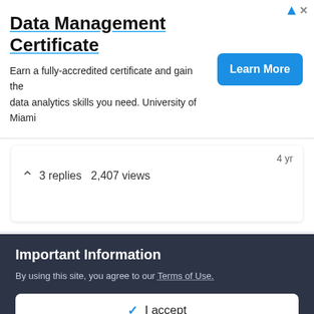[Figure (screenshot): Advertisement banner for Data Management Certificate from University of Miami with a blue 'Learn More' button]
3 replies   2,407 views
4 yr
[Figure (other): Twitter and LinkedIn social media icons]
Privacy Policy   Contact Us
Site owned and operated by VI Shots LLC
Important Information
By using this site, you agree to our Terms of Use.
✓  I accept